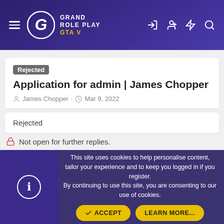GRAND ROLE PLAY GTA V
Rejected Application for admin | James Chopper
James Chopper · Mar 9, 2022
Rejected
Not open for further replies.
James Chopper
This site uses cookies to help personalise content, tailor your experience and to keep you logged in if you register. By continuing to use this site, you are consenting to our use of cookies.